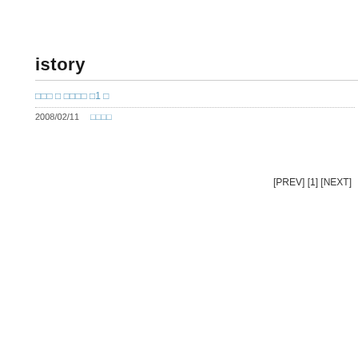istory
□□□ □ □□□□ □1 □
2008/02/11   □□□□
[PREV] [1] [NEXT]